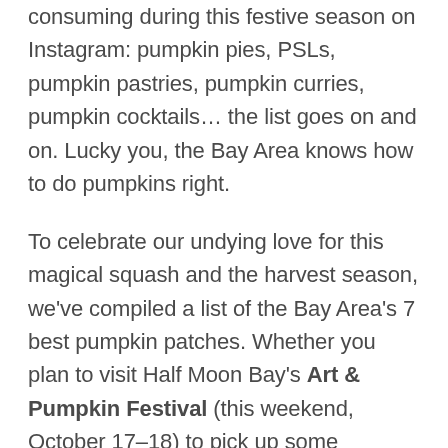consuming during this festive season on Instagram: pumpkin pies, PSLs, pumpkin pastries, pumpkin curries, pumpkin cocktails… the list goes on and on. Lucky you, the Bay Area knows how to do pumpkins right.
To celebrate our undying love for this magical squash and the harvest season, we've compiled a list of the Bay Area's 7 best pumpkin patches. Whether you plan to visit Half Moon Bay's Art & Pumpkin Festival (this weekend, October 17–18) to pick up some (gigantic) pumpkins or not, we've got you covered with the best of the best around the Bay.